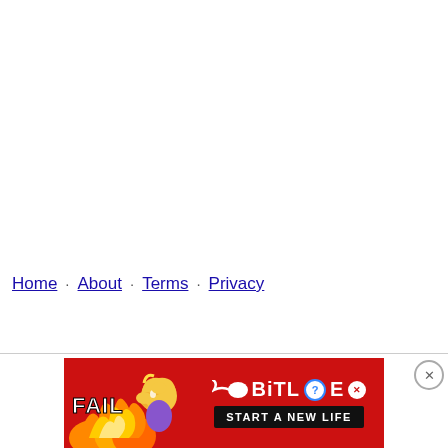Home · About · Terms · Privacy
[Figure (advertisement): BitLife mobile game advertisement banner with cartoon character facepalming near flames, sperm logo, and 'START A NEW LIFE' text on red background]